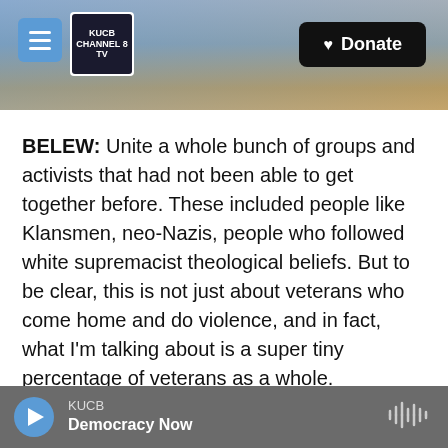[Figure (screenshot): Website header banner with mountain/snow landscape background, hamburger menu button, KUCB Channel 8 TV logo, and Donate button]
BELEW: Unite a whole bunch of groups and activists that had not been able to get together before. These included people like Klansmen, neo-Nazis, people who followed white supremacist theological beliefs. But to be clear, this is not just about veterans who come home and do violence, and in fact, what I'm talking about is a super tiny percentage of veterans as a whole.
ABDELFATAH: Louis Beam used money from a Texas state veterans land board grant to buy a property and create a paramilitary training facility
KUCB — Democracy Now